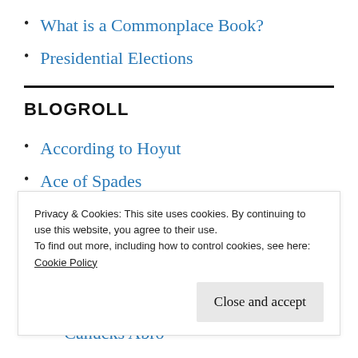What is a Commonplace Book?
Presidential Elections
BLOGROLL
According to Hoyut
Ace of Spades
Bite Size Canada
Privacy & Cookies: This site uses cookies. By continuing to use this website, you agree to their use.
To find out more, including how to control cookies, see here:
Cookie Policy
Close and accept
Canucks Abroad (partial)